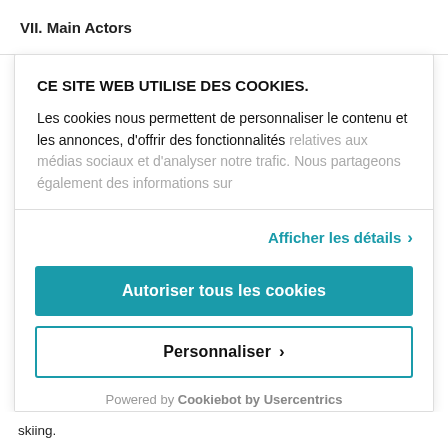VII. Main Actors
CE SITE WEB UTILISE DES COOKIES.
Les cookies nous permettent de personnaliser le contenu et les annonces, d'offrir des fonctionnalités relatives aux médias sociaux et d'analyser notre trafic. Nous partageons également des informations sur
Afficher les détails ›
Autoriser tous les cookies
Personnaliser ›
Powered by Cookiebot by Usercentrics
skiing.